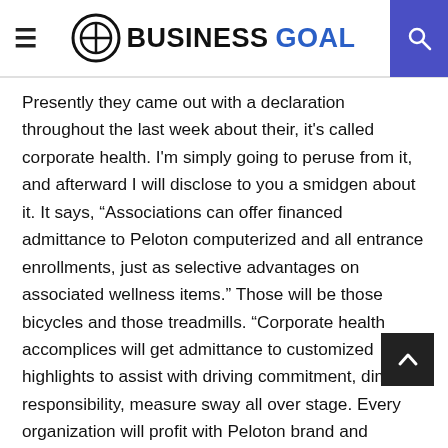BUSINESS GOAL
Presently they came out with a declaration throughout the last week about their, it's called corporate health. I'm simply going to peruse from it, and afterward I will disclose to you a smidgen about it. It says, “Associations can offer financed admittance to Peloton computerized and all entrance enrollments, just as selective advantages on associated wellness items.” Those will be those bicycles and those treadmills. “Corporate health accomplices will get admittance to customized highlights to assist with driving commitment, diminish responsibility, measure sway all over stage. Every organization will profit with Peloton brand and showcasing. Information on part engagement…” Yada whatever.
They revealed to us that this has been continuing for a